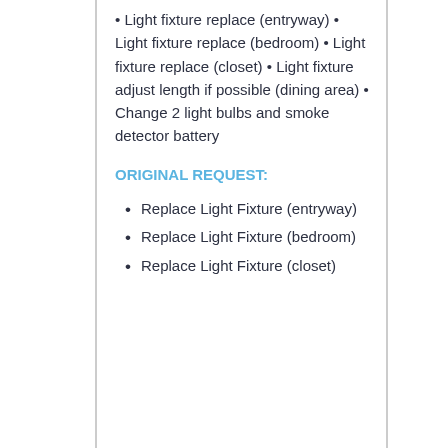• Light fixture replace (entryway) • Light fixture replace (bedroom) • Light fixture replace (closet) • Light fixture adjust length if possible (dining area) • Change 2 light bulbs and smoke detector battery
ORIGINAL REQUEST:
Replace Light Fixture (entryway)
Replace Light Fixture (bedroom)
Replace Light Fixture (closet)